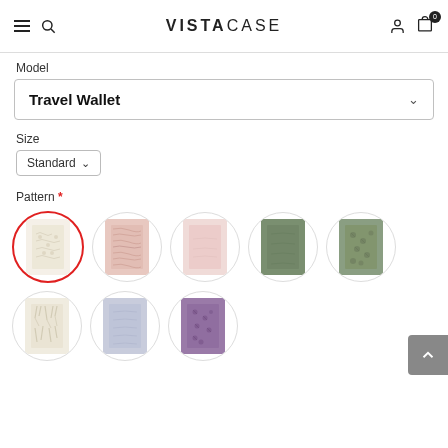VISTACASE — hamburger menu, search, user icon, cart icon (0)
Model
Travel Wallet
Size
Standard
Pattern *
[Figure (illustration): 8 circular pattern swatches for travel wallet: row 1: cream/ivory floral (selected, red border), pink wood grain, blush pink solid, olive green solid, sage green floral; row 2: cream/ivory abstract, lavender/periwinkle, purple floral]